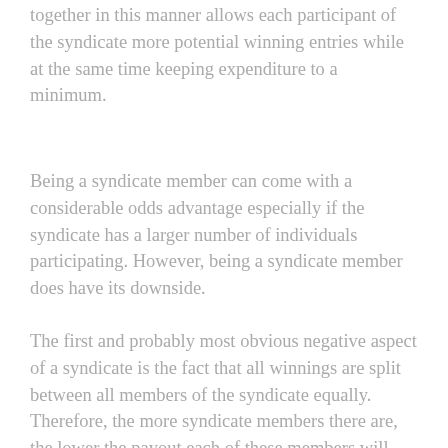together in this manner allows each participant of the syndicate more potential winning entries while at the same time keeping expenditure to a minimum.
Being a syndicate member can come with a considerable odds advantage especially if the syndicate has a larger number of individuals participating. However, being a syndicate member does have its downside.
The first and probably most obvious negative aspect of a syndicate is the fact that all winnings are split between all members of the syndicate equally. Therefore, the more syndicate members there are, the lower the payout each of these members will receive. As a result, a sizable lotto syndicate win may only generate enough cash for each member to pay for a holiday or a new car; but certainly not give up the day job and buy a luxury yacht! As long as